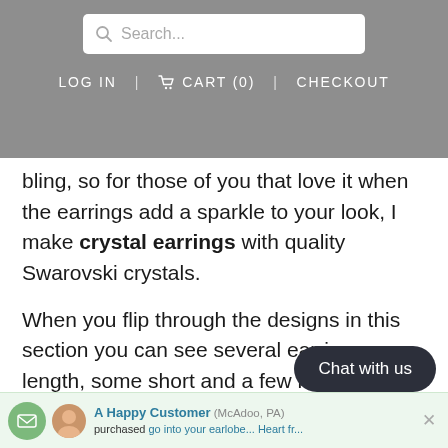Search... LOG IN CART (0) CHECKOUT
bling, so for those of you that love it when the earrings add a sparkle to your look, I make crystal earrings with quality Swarovski crystals.
When you flip through the designs in this section you can see several earrings length, some short and a few really long dangle earrings that would look great with your hair up.
All the ear wires are made eith... filled on sterling silver, only the to... go into your earlobe...